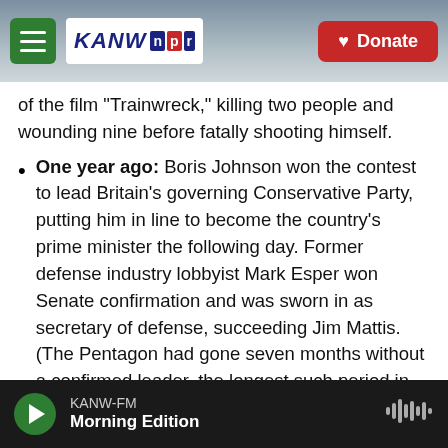[Figure (screenshot): KANW NPR website navigation bar with hamburger menu, KANW NPR logo, and Donate button over a mountain background]
of the film "Trainwreck," killing two people and wounding nine before fatally shooting himself.
One year ago: Boris Johnson won the contest to lead Britain's governing Conservative Party, putting him in line to become the country's prime minister the following day. Former defense industry lobbyist Mark Esper won Senate confirmation and was sworn in as secretary of defense, succeeding Jim Mattis. (The Pentagon had gone seven months without a confirmed leader, the longest such period in its history.) The Senate gave final legislative approval to a measure ensuring that a victims' compensation
KANW-FM  Morning Edition